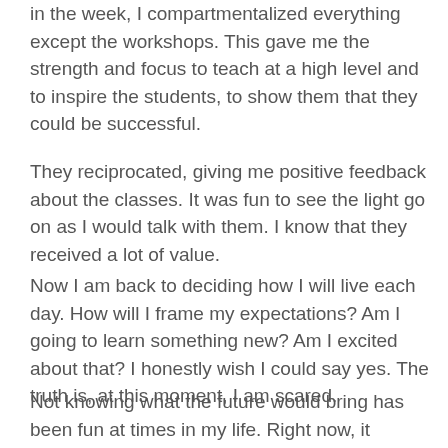in the week, I compartmentalized everything except the workshops. This gave me the strength and focus to teach at a high level and to inspire the students, to show them that they could be successful.
They reciprocated, giving me positive feedback about the classes. It was fun to see the light go on as I would talk with them. I know that they received a lot of value.
Now I am back to deciding how I will live each day. How will I frame my expectations? Am I going to learn something new? Am I excited about that? I honestly wish I could say yes. The truth is, at this moment, I am scared.
Not knowing what the future would bring has been fun at times in my life. Right now, it scares the heck out of me. I am looking for a path forward, a structure to build on that gives me a clear path. Even as I say that, I know life is